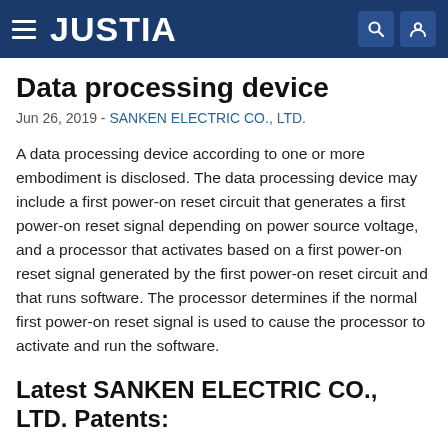JUSTIA
Data processing device
Jun 26, 2019 - SANKEN ELECTRIC CO., LTD.
A data processing device according to one or more embodiment is disclosed. The data processing device may include a first power-on reset circuit that generates a first power-on reset signal depending on power source voltage, and a processor that activates based on a first power-on reset signal generated by the first power-on reset circuit and that runs software. The processor determines if the normal first power-on reset signal is used to cause the processor to activate and run the software.
Latest SANKEN ELECTRIC CO., LTD. Patents: